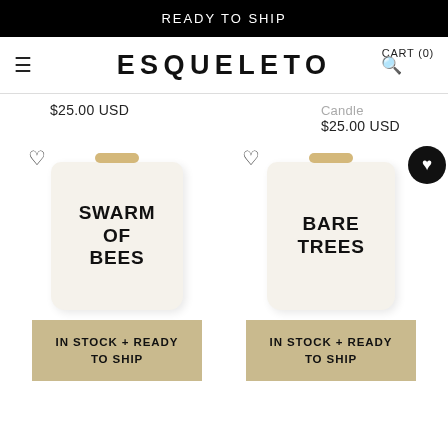READY TO SHIP
CART (0)
ESQUELETO
$25.00 USD
Candle
$25.00 USD
[Figure (photo): White ceramic candle labeled 'SWARM OF BEES' with a gold wick topper, placed on white background. Heart (wishlist) icon at top left.]
[Figure (photo): White ceramic candle labeled 'BARE TREES' with a gold wick topper, placed on white background. Heart (wishlist) icon at top left. Filled black heart badge partially visible at right edge.]
IN STOCK + READY TO SHIP
IN STOCK + READY TO SHIP